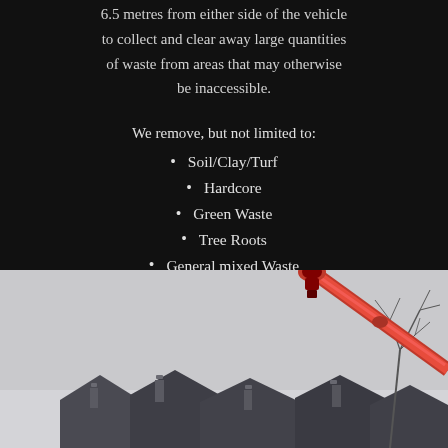6.5 metres from either side of the vehicle to collect and clear away large quantities of waste from areas that may otherwise be inaccessible.
We remove, but not limited to:
Soil/Clay/Turf
Hardcore
Green Waste
Tree Roots
General mixed Waste
Please contact us with your requirements and we will be happy to assist.
[Figure (photo): Photograph of a red crane/grabber boom arm against a light grey sky, with rooftops and bare tree branches visible below. Appears to be a waste collection grab lorry in operation.]